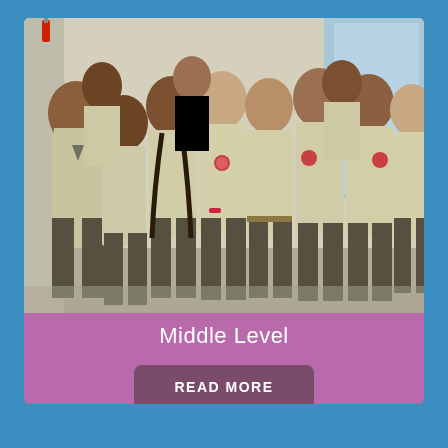[Figure (photo): Group photo of approximately 13 middle school students in school uniforms (light yellow shirts and dark grey trousers/pants) posing together indoors, some making peace/rock signs with their hands]
Middle Level
READ MORE